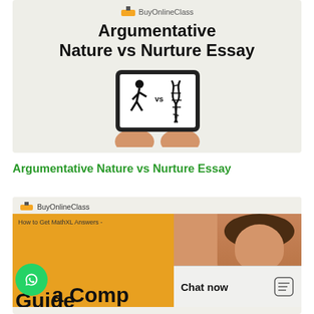[Figure (illustration): BuyOnlineClass logo at top of light green-gray banner. Large bold title 'Argumentative Nature vs Nurture Essay'. Below the title, a tablet device held by hands showing a running figure vs a DNA strand icon with 'vs' text.]
Argumentative Nature vs Nurture Essay
[Figure (photo): BuyOnlineClass logo over a partial image showing a woman in red top smiling, yellow/orange banner with text 'How to Get MathXL Answers - a Comprehensive Guide', WhatsApp circle button on lower left, and a chat widget on lower right showing 'Chat now' with a chat icon.]